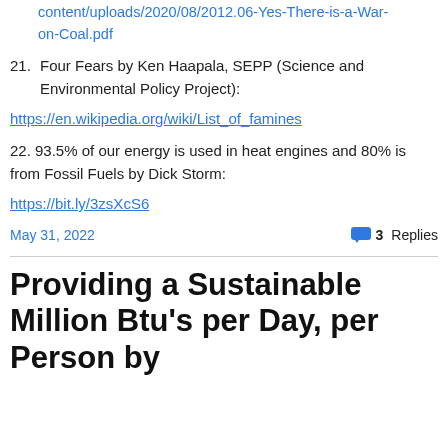content/uploads/2020/08/2012.06-Yes-There-is-a-War-on-Coal.pdf
21. Four Fears by Ken Haapala, SEPP (Science and Environmental Policy Project):
https://en.wikipedia.org/wiki/List_of_famines
22. 93.5% of our energy is used in heat engines and 80% is from Fossil Fuels by Dick Storm:
https://bit.ly/3zsXcS6
May 31, 2022
3 Replies
Providing a Sustainable Million Btu's per Day, per Person by